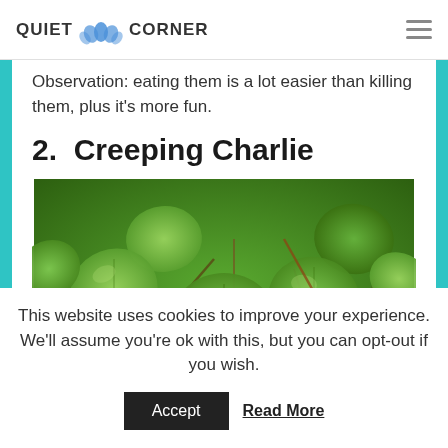QUIET CORNER
Observation: eating them is a lot easier than killing them, plus it's more fun.
2.  Creeping Charlie
[Figure (photo): Close-up photograph of Creeping Charlie (Glechoma hederacea) plant showing dense green rounded leaves with scalloped edges and a small purple flower visible among the foliage.]
This website uses cookies to improve your experience. We'll assume you're ok with this, but you can opt-out if you wish.